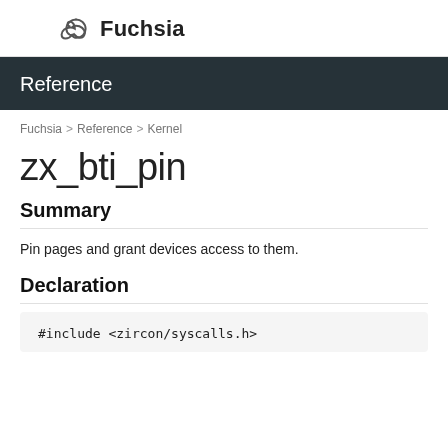Fuchsia
Reference
Fuchsia > Reference > Kernel
zx_bti_pin
Summary
Pin pages and grant devices access to them.
Declaration
#include <zircon/syscalls.h>